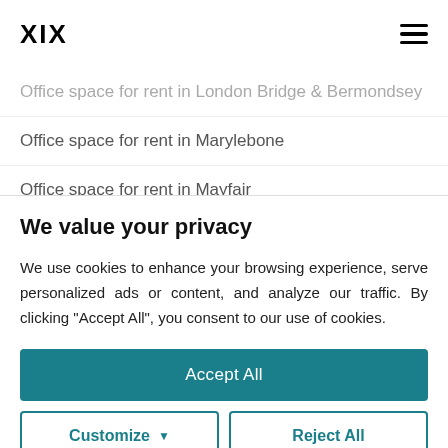XIX
Office space for rent in London Bridge & Bermondsey
Office space for rent in Marylebone
Office space for rent in Mayfair
We value your privacy
We use cookies to enhance your browsing experience, serve personalized ads or content, and analyze our traffic. By clicking "Accept All", you consent to our use of cookies.
Accept All
Customize
Reject All